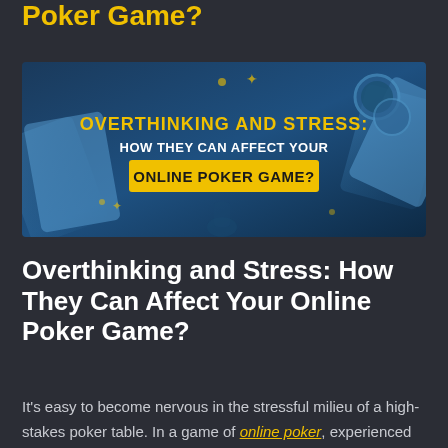Poker Game?
[Figure (illustration): Banner image with blue poker/card background. Yellow bold text reads 'OVERTHINKING AND STRESS:' with subtext 'HOW THEY CAN AFFECT YOUR' and highlighted box 'ONLINE POKER GAME?']
Overthinking and Stress: How They Can Affect Your Online Poker Game?
It's easy to become nervous in the stressful milieu of a high-stakes poker table. In a game of online poker, experienced players construct uncomfortable conditions for their opponents to intimidate them while playing. Most